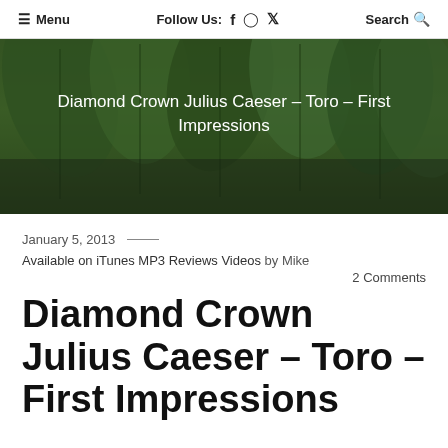≡ Menu   Follow Us: f ⓘ 𝕏   Search 🔍
[Figure (photo): Close-up photo of dark green tobacco leaves hanging, with white overlay text reading: Diamond Crown Julius Caeser – Toro – First Impressions]
January 5, 2013
Available on iTunes MP3 Reviews Videos by Mike
2 Comments
Diamond Crown Julius Caeser - Toro - First Impressions